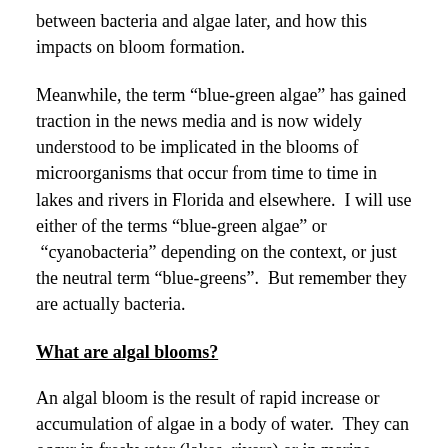between bacteria and algae later, and how this impacts on bloom formation.
Meanwhile, the term “blue-green algae” has gained traction in the news media and is now widely understood to be implicated in the blooms of microorganisms that occur from time to time in lakes and rivers in Florida and elsewhere.  I will use either of the terms “blue-green algae” or  “cyanobacteria” depending on the context, or just the neutral term “blue-greens”.  But remember they are actually bacteria.
What are algal blooms?
An algal bloom is the result of rapid increase or accumulation of algae in a body of water.  They can occur in freshwater (lakes, rivers) or in marine water (estuaries, lagoons, coastal embayments).   Different types of algae (including the blue-green cyanobacteria) produce different